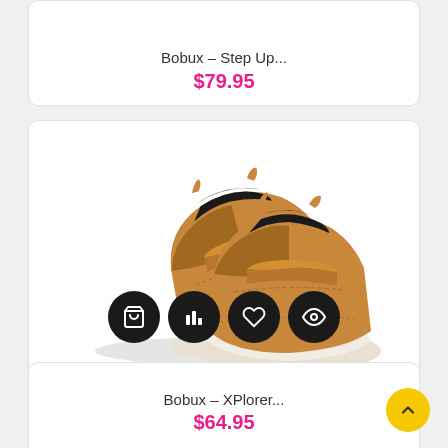Bobux – Step Up...
$79.95
[Figure (photo): Pair of brown leather Bobux children's shoes with velcro strap and white sole, shown at an angle]
Bobux – XPlorer...
$64.95